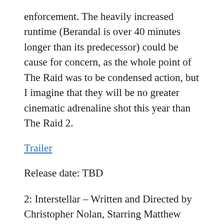enforcement. The heavily increased runtime (Berandal is over 40 minutes longer than its predecessor) could be cause for concern, as the whole point of The Raid was to be condensed action, but I imagine that they will be no greater cinematic adrenaline shot this year than The Raid 2.
Trailer
Release date: TBD
2: Interstellar – Written and Directed by Christopher Nolan, Starring Matthew McConaughey, Jessica Chastain, Anne Hathaway
[Figure (photo): A black rectangular image area at the bottom of the page]